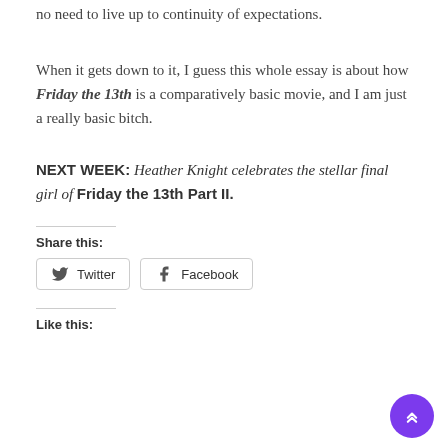no need to live up to continuity of expectations.
When it gets down to it, I guess this whole essay is about how Friday the 13th is a comparatively basic movie, and I am just a really basic bitch.
NEXT WEEK: Heather Knight celebrates the stellar final girl of Friday the 13th Part II.
Share this:
Twitter   Facebook
Like this: